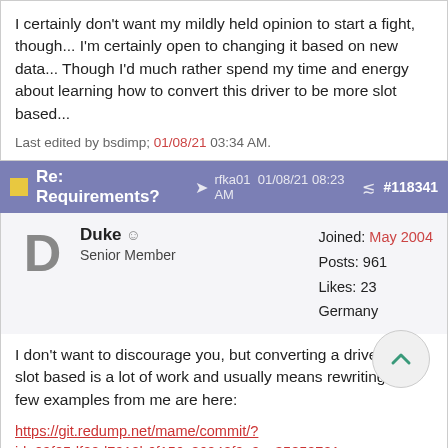I certainly don't want my mildly held opinion to start a fight, though... I'm certainly open to changing it based on new data... Though I'd much rather spend my time and energy about learning how to convert this driver to be more slot based...
Last edited by bsdimp; 01/08/21 03:34 AM.
Re: Requirements? rfka01 01/08/21 08:23 AM #118341
Duke ☺ Senior Member  Joined: May 2004  Posts: 961  Likes: 23  Germany
I don't want to discourage you, but converting a driver to be slot based is a lot of work and usually means rewriting it. A few examples from me are here:
https://git.redump.net/mame/commit/?id=09f25df20d7910b6f156c86040f9a9ca35852701
https://git.redump.net/mame/commit/?id=4d89de93c0dcb0b3069c9226236bfb1a802113cf
This isn't the only way to do it, there are different ways to